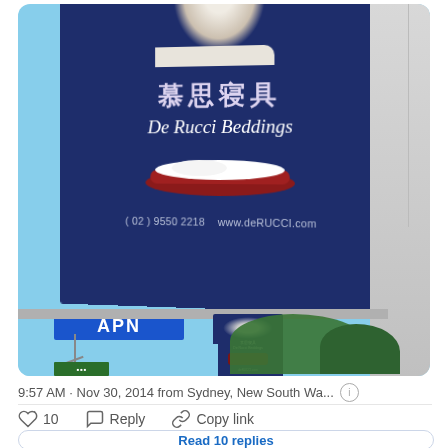[Figure (photo): Photograph of a De Rucci Beddings outdoor billboard advertisement. The billboard has a dark navy blue background with Chinese characters '慕思寝具' and 'De Rucci Beddings' text, along with a contact number (02) 9550 2218 and www.deRUCCI.com. An APN advertising company banner is visible below. A smaller identical billboard is visible in the background. Trees and street lights are visible.]
9:57 AM · Nov 30, 2014 from Sydney, New South Wa...
10   Reply   Copy link
Read 10 replies